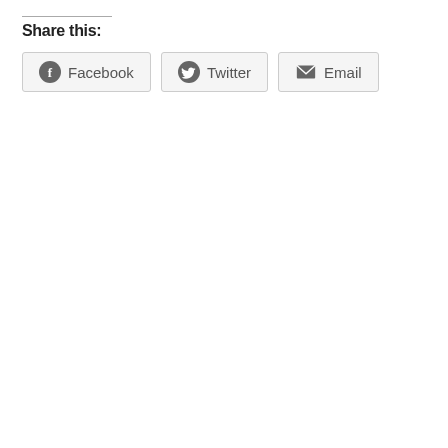Share this:
[Figure (other): Share buttons for Facebook, Twitter, and Email with icons]
Facebook
Twitter
Email